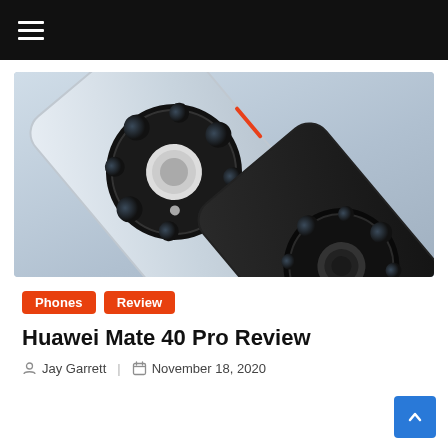≡
[Figure (photo): Two Huawei Mate 40 Pro smartphones showing their rear camera modules — one silver/white and one black — arranged diagonally, highlighting the circular camera array design.]
Phones   Review
Huawei Mate 40 Pro Review
Jay Garrett   November 18, 2020